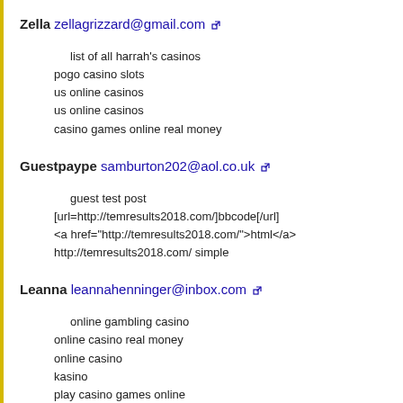Zella zellagrizzard@gmail.com
list of all harrah's casinos
pogo casino slots
us online casinos
us online casinos
casino games online real money
Guestpaype samburton202@aol.co.uk
guest test post
[url=http://temresults2018.com/]bbcode[/url]
<a href="http://temresults2018.com/">html</a>
http://temresults2018.com/ simple
Leanna leannahenninger@inbox.com
online gambling casino
online casino real money
online casino
kasino
play casino games online
Dane daneadam@gmail.com
slots of glory
online casino dealer salary